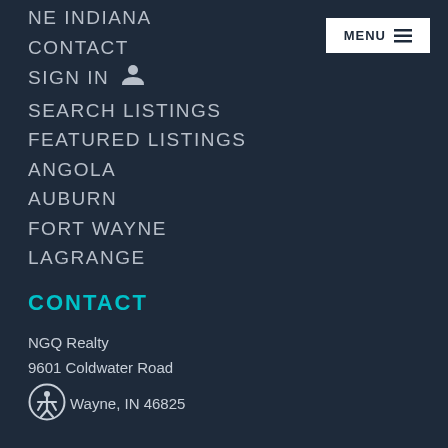NE INDIANA
CONTACT
SIGN IN
SEARCH LISTINGS
FEATURED LISTINGS
ANGOLA
AUBURN
FORT WAYNE
LAGRANGE
CONTACT
NGQ Realty
9601 Coldwater Road
Fort Wayne, IN 46825